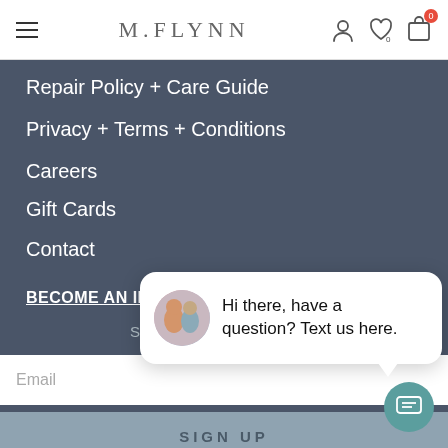M.FLYNN
Repair Policy + Care Guide
Privacy + Terms + Conditions
Careers
Gift Cards
Contact
BECOME AN INSIDER
Su
Email
SIGN UP
[Figure (screenshot): Chat popup with two women avatar photo and message: Hi there, have a question? Text us here.]
close
[Figure (other): Teal chat bubble icon with lines/message icon]